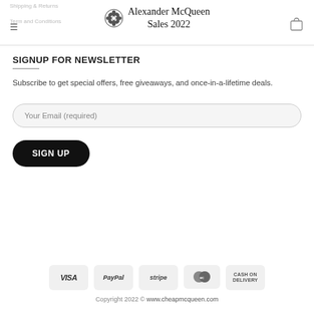Shipping & Returns   Alexander McQueen Sales 2022   Term and Conditions
SIGNUP FOR NEWSLETTER
Subscribe to get special offers, free giveaways, and once-in-a-lifetime deals.
Your Email (required)
SIGN UP
VISA  PayPal  stripe  MasterCard  CASH ON DELIVERY
Copyright 2022 © www.cheapmcqueen.com